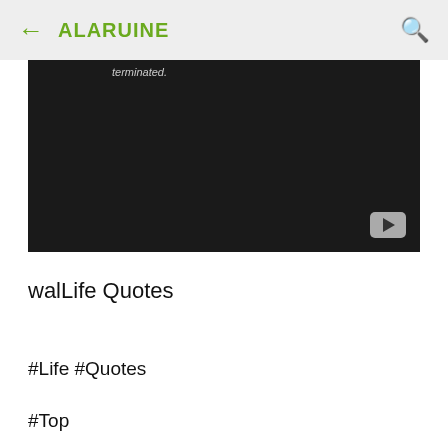← ALARUINE 🔍
[Figure (screenshot): Dark video embed block with text 'terminated.' partially visible at top left, and a YouTube play button icon at bottom right]
walLife Quotes
#Life #Quotes
#Top